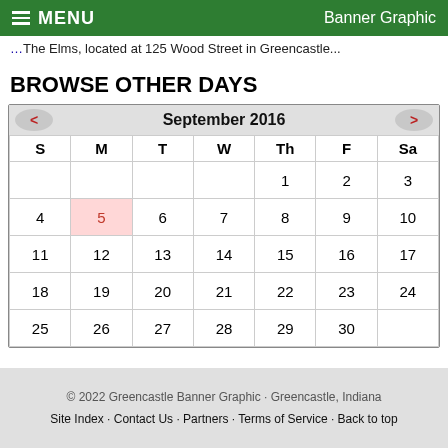MENU  Banner Graphic
The Elms, located at 125 Wood Street in Greencastle...
BROWSE OTHER DAYS
| S | M | T | W | Th | F | Sa |
| --- | --- | --- | --- | --- | --- | --- |
|  |  |  |  | 1 | 2 | 3 |
| 4 | 5 | 6 | 7 | 8 | 9 | 10 |
| 11 | 12 | 13 | 14 | 15 | 16 | 17 |
| 18 | 19 | 20 | 21 | 22 | 23 | 24 |
| 25 | 26 | 27 | 28 | 29 | 30 |  |
© 2022 Greencastle Banner Graphic · Greencastle, Indiana
Site Index · Contact Us · Partners · Terms of Service · Back to top